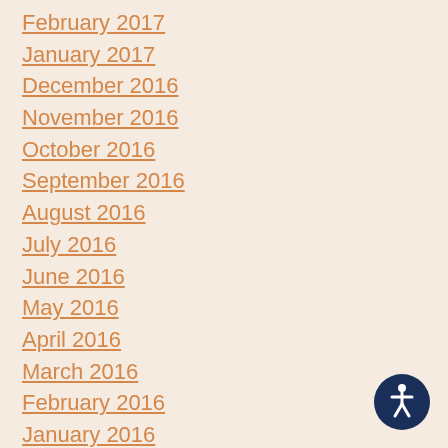February 2017
January 2017
December 2016
November 2016
October 2016
September 2016
August 2016
July 2016
June 2016
May 2016
April 2016
March 2016
February 2016
January 2016
December 2015
November 2015
[Figure (illustration): Circular accessibility/wheelchair icon with white figure on dark navy blue background]